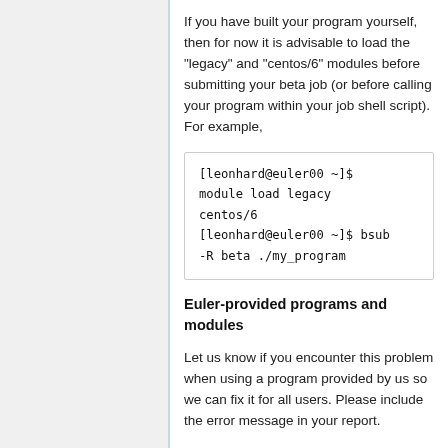If you have built your program yourself, then for now it is advisable to load the “legacy” and “centos/6” modules before submitting your beta job (or before calling your program within your job shell script). For example,
[leonhard@euler00 ~]$ module load legacy centos/6 [leonhard@euler00 ~]$ bsub -R beta ./my_program
Euler-provided programs and modules
Let us know if you encounter this problem when using a program provided by us so we can fix it for all users. Please include the error message in your report.